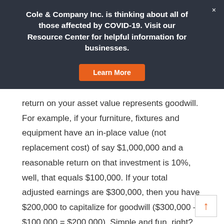Cole & Company Inc. is thinking about all of those affected by COVID-19. Visit our Resource Center for helpful information for businesses.
Learn More
return on your asset value represents goodwill. For example, if your furniture, fixtures and equipment have an in-place value (not replacement cost) of say $1,000,000 and a reasonable return on that investment is 10%, well, that equals $100,000. If your total adjusted earnings are $300,000, then you have $200,000 to capitalize for goodwill ($300,000 – $100,000 = $200,000). Simple and fun, right? Caution though, the IRS says the